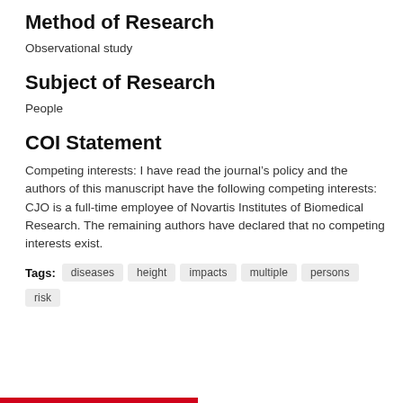Method of Research
Observational study
Subject of Research
People
COI Statement
Competing interests: I have read the journal’s policy and the authors of this manuscript have the following competing interests: CJO is a full-time employee of Novartis Institutes of Biomedical Research. The remaining authors have declared that no competing interests exist.
Tags: diseases  height  impacts  multiple  persons  risk